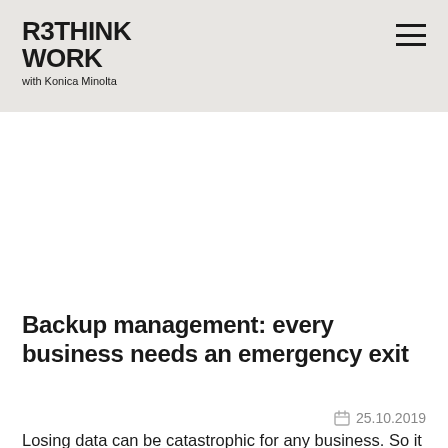RETHINK WORK with Konica Minolta
Backup management: every business needs an emergency exit
Losing data can be catastrophic for any business. So it is crucial to protect yourself against loss and invest in…
25.10.2019